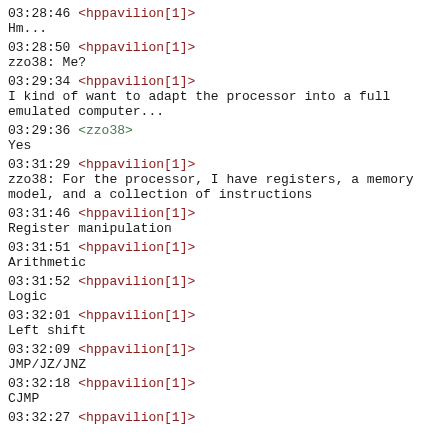03:28:46 <hppavilion[1]>
Hm...
03:28:50 <hppavilion[1]>
zzo38: Me?
03:29:34 <hppavilion[1]>
I kind of want to adapt the processor into a full emulated computer...
03:29:36 <zzo38>
Yes
03:31:29 <hppavilion[1]>
zzo38: For the processor, I have registers, a memory model, and a collection of instructions
03:31:46 <hppavilion[1]>
Register manipulation
03:31:51 <hppavilion[1]>
Arithmetic
03:31:52 <hppavilion[1]>
Logic
03:32:01 <hppavilion[1]>
Left shift
03:32:09 <hppavilion[1]>
JMP/JZ/JNZ
03:32:18 <hppavilion[1]>
CJMP
03:32:27 <hppavilion[1]>